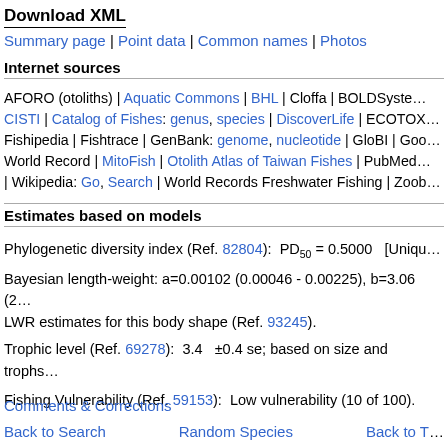Download XML
Summary page | Point data | Common names | Photos
Internet sources
AFORO (otoliths) | Aquatic Commons | BHL | Cloffa | BOLDSystems | CISTI | Catalog of Fishes: genus, species | DiscoverLife | ECOTOX | Fishipedia | Fishtrace | GenBank: genome, nucleotide | GloBI | Google Scholar | World Record | MitoFish | Otolith Atlas of Taiwan Fishes | PubMed | Reef Life Survey | Wikipedia: Go, Search | World Records Freshwater Fishing | Zoobank | Zoological Record
Estimates based on models
Phylogenetic diversity index (Ref. 82804):  PD50 = 0.5000   [Unique]
Bayesian length-weight: a=0.00102 (0.00046 - 0.00225), b=3.06 (2.87 - 3.25), in cm total length, based on LWR estimates for this body shape (Ref. 93245).
Trophic level (Ref. 69278):  3.4   ±0.4 se; based on size and trophs of closest relatives
Fishing Vulnerability (Ref. 59153):  Low vulnerability (10 of 100).
Comments & Corrections
Back to Search | Random Species | Back to Top